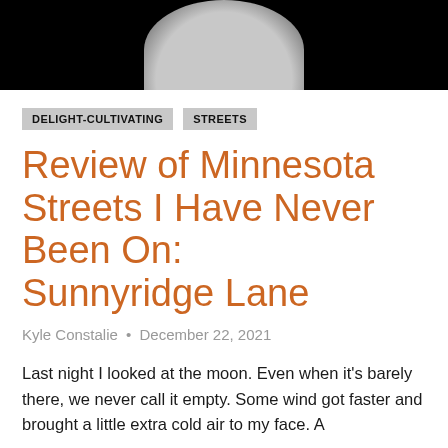[Figure (photo): Partial moon photo cropped at top of page, visible as a light gray arc against black background]
DELIGHT-CULTIVATING
STREETS
Review of Minnesota Streets I Have Never Been On: Sunnyridge Lane
Kyle Constalie • December 22, 2021
Last night I looked at the moon. Even when it's barely there, we never call it empty. Some wind got faster and brought a little extra cold air to my face. A